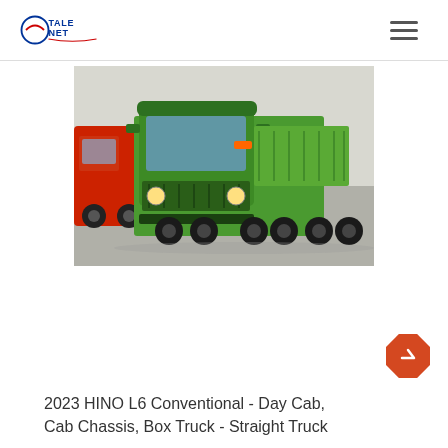TALENET
[Figure (photo): Green HINO heavy-duty truck photographed outdoors with a red truck partially visible behind it. The truck has 8 wheels and a flatbed/tipper body. The cab is bright green.]
2023 HINO L6 Conventional - Day Cab, Cab Chassis, Box Truck - Straight Truck